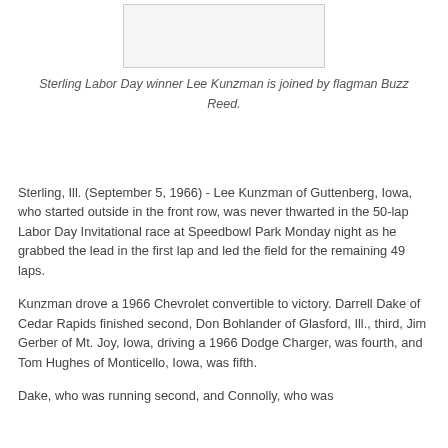[Figure (photo): Photo of Sterling Labor Day winner Lee Kunzman joined by flagman Buzz Reed]
Sterling Labor Day winner Lee Kunzman is joined by flagman Buzz Reed.
Sterling, Ill. (September 5, 1966) - Lee Kunzman of Guttenberg, Iowa, who started outside in the front row, was never thwarted in the 50-lap Labor Day Invitational race at Speedbowl Park Monday night as he grabbed the lead in the first lap and led the field for the remaining 49 laps.
Kunzman drove a 1966 Chevrolet convertible to victory. Darrell Dake of Cedar Rapids finished second, Don Bohlander of Glasford, Ill., third, Jim Gerber of Mt. Joy, Iowa, driving a 1966 Dodge Charger, was fourth, and Tom Hughes of Monticello, Iowa, was fifth.
Dake, who was running second, and Connolly, who was